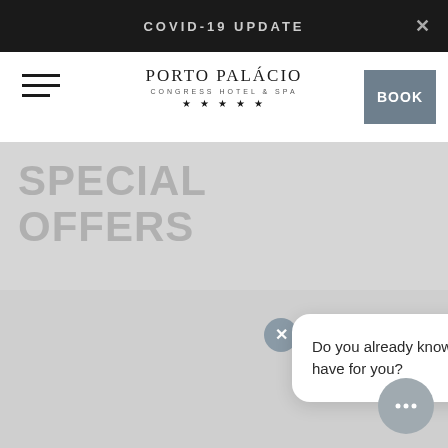COVID-19 UPDATE
[Figure (logo): Porto Palácio Congress Hotel & Spa logo with five stars]
BOOK
SPECIAL OFFERS
[Figure (screenshot): Chat popup with close button and message: Do you already know the special offers we have for you?]
Do you already know the special offers we have for you?